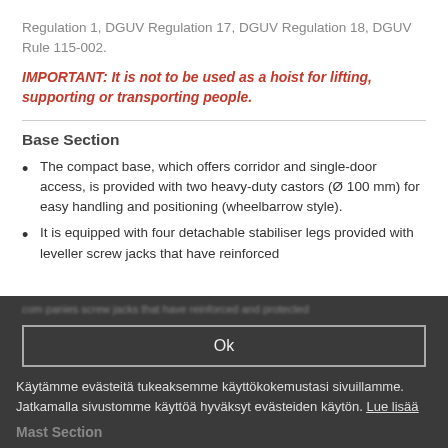Regulation 1, DGUV Regulation 17, DGUV Regulation 18, DGUV Rule 115-002.
IMPORTANT: It is not to be used as a hoist for lifting, supporting or transporting people.
Base Section
The compact base, which offers corridor and single-door access, is provided with two heavy-duty castors (Ø 100 mm) for easy handling and positioning (wheelbarrow style).
It is equipped with four detachable stabiliser legs provided with leveller screw jacks that have reinforced
Ok
Käytämme evästeitä tukeaksemme käyttökokemustasi sivuillamme. Jatkamalla sivustomme käyttöä hyväksyt evästeiden käytön. Lue lisää
Mast Section